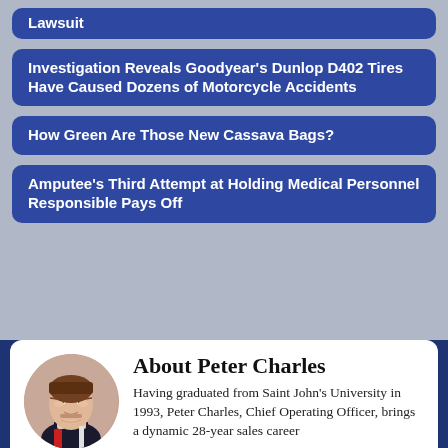Lawsuit
Investigation Reveals Goodyear's Dunlop D402 Tires Have Caused Dozens of Motorcycle Accidents
How Green Are Those New Cassava Bags?
Amputee's Third Attempt at Holding Medical Personnel Responsible Pays Off
About Peter Charles
Having graduated from Saint John's University in 1993, Peter Charles, Chief Operating Officer, brings a dynamic 28-year sales career reflecting pioneering experience and record-breaking